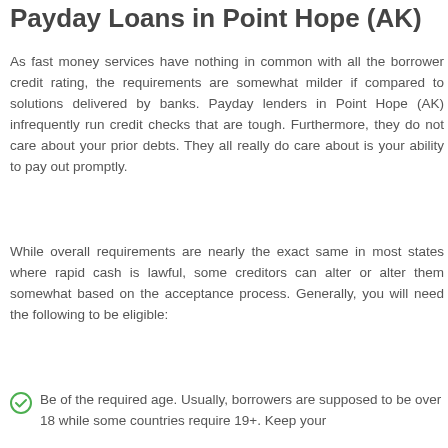Payday Loans in Point Hope (AK)
As fast money services have nothing in common with all the borrower credit rating, the requirements are somewhat milder if compared to solutions delivered by banks. Payday lenders in Point Hope (AK) infrequently run credit checks that are tough. Furthermore, they do not care about your prior debts. They all really do care about is your ability to pay out promptly.
While overall requirements are nearly the exact same in most states where rapid cash is lawful, some creditors can alter or alter them somewhat based on the acceptance process. Generally, you will need the following to be eligible:
Be of the required age. Usually, borrowers are supposed to be over 18 while some countries require 19+. Keep your